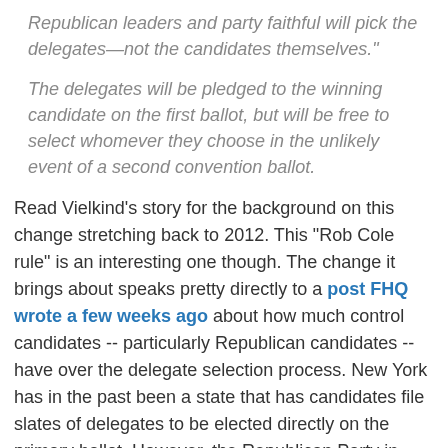Republican leaders and party faithful will pick the delegates—not the candidates themselves."
The delegates will be pledged to the winning candidate on the first ballot, but will be free to select whomever they choose in the unlikely event of a second convention ballot.
Read Vielkind's story for the background on this change stretching back to 2012. This "Rob Cole rule" is an interesting one though. The change it brings about speaks pretty directly to a post FHQ wrote a few weeks ago about how much control candidates -- particularly Republican candidates -- have over the delegate selection process. New York has in the past been a state that has candidates file slates of delegates to be elected directly on the primary ballot. However, the Republican Party in New York will break with that tradition in 2016 (if the rules change is passed on Tuesday). The planned change would relieve campaigns the added task of filing delegates, but in exchange the candidates would give up control over the selection to state and local party officials. That eliminates some of the types of